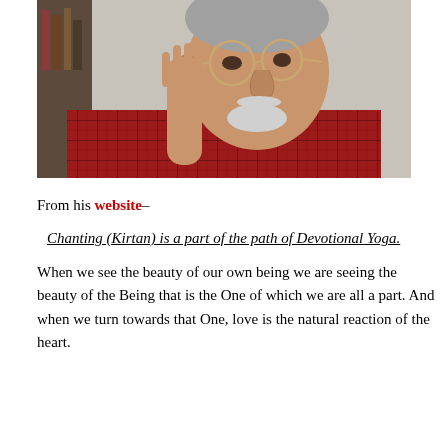[Figure (photo): Close-up photo of an older man with round glasses, gray beard and mustache, resting his head on his hand, wearing a red plaid shirt, with a bookshelf visible in the background]
From his website–
Chanting (Kirtan) is a part of the path of Devotional Yoga.
When we see the beauty of our own being we are seeing the beauty of the Being that is the One of which we are all a part. And when we turn towards that One, love is the natural reaction of the heart.